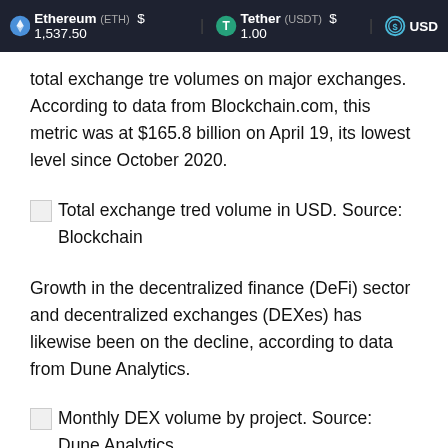Ethereum (ETH) $1,537.50  Tether (USDT) $1.00  USD
total exchange tre volumes on major exchanges. According to data from Blockchain.com, this metric was at $165.8 billion on April 19, its lowest level since October 2020.
Total exchange tred volume in USD. Source: Blockchain
Growth in the decentralized finance (DeFi) sector and decentralized exchanges (DEXes) has likewise been on the decline, according to data from Dune Analytics.
Monthly DEX volume by project. Source: Dune Analytics